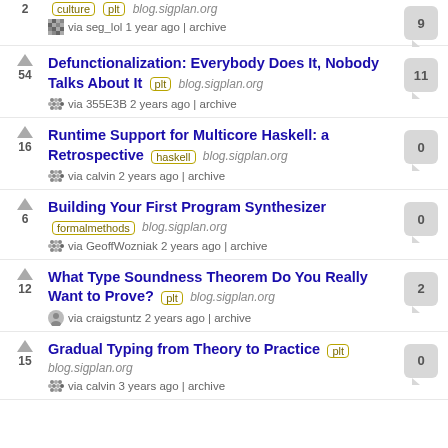2 | culture plt blog.sigplan.org | via seg_lol 1 year ago | archive | 9 comments
54 | Defunctionalization: Everybody Does It, Nobody Talks About It | plt | blog.sigplan.org | via 355E3B 2 years ago | archive | 11 comments
16 | Runtime Support for Multicore Haskell: a Retrospective | haskell | blog.sigplan.org | via calvin 2 years ago | archive | 0 comments
6 | Building Your First Program Synthesizer | formalmethods | blog.sigplan.org | via GeoffWozniak 2 years ago | archive | 0 comments
12 | What Type Soundness Theorem Do You Really Want to Prove? | plt | blog.sigplan.org | via craigstuntz 2 years ago | archive | 2 comments
15 | Gradual Typing from Theory to Practice | plt | blog.sigplan.org | via calvin 3 years ago | archive | 0 comments